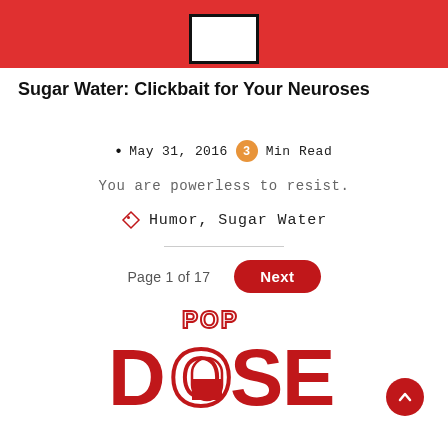[Figure (illustration): Red banner at top with white rectangle outline in center]
Sugar Water: Clickbait for Your Neuroses
May 31, 2016  3 Min Read
You are powerless to resist.
Humor, Sugar Water
Page 1 of 17  Next
[Figure (logo): Popdose logo in red with pill capsule design in the O of DOSE and POP written above in outlined letters]